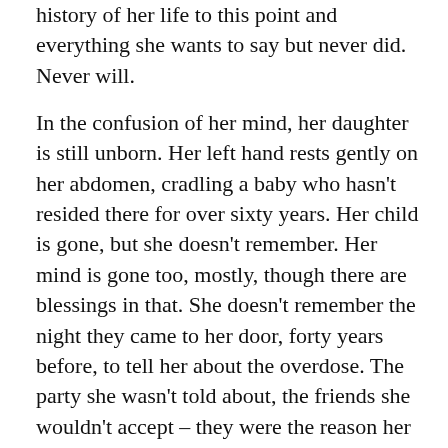history of her life to this point and everything she wants to say but never did. Never will.
In the confusion of her mind, her daughter is still unborn. Her left hand rests gently on her abdomen, cradling a baby who hasn't resided there for over sixty years. Her child is gone, but she doesn't remember. Her mind is gone too, mostly, though there are blessings in that. She doesn't remember the night they came to her door, forty years before, to tell her about the overdose. The party she wasn't told about, the friends she wouldn't accept – they were the reason her child was dead. For decades, she's held onto a hatred which served no purpose. It's been said that holding a grudge is like drinking poison and waiting for the other person to die. For years, she held